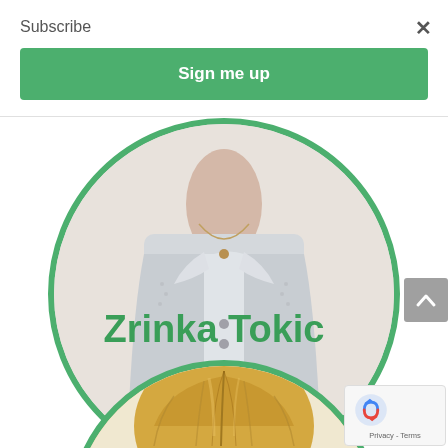Subscribe
Sign me up
[Figure (photo): Circular profile photo of a woman wearing a light grey/blue jacket with a necklace, cropped to show neck and upper torso area, framed with a green circular border]
Zrinka Tokic
[Figure (photo): Circular profile photo showing the top of a person's head with blonde hair, framed with a green circular border, partially visible at bottom of page]
[Figure (other): reCAPTCHA badge with Google logo showing Privacy and Terms links]